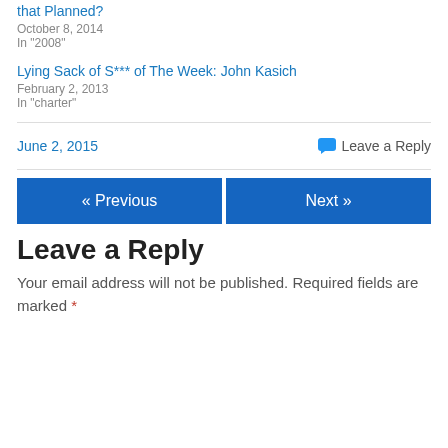that Planned?
October 8, 2014
In "2008"
Lying Sack of S*** of The Week: John Kasich
February 2, 2013
In "charter"
June 2, 2015
Leave a Reply
« Previous
Next »
Leave a Reply
Your email address will not be published. Required fields are marked *